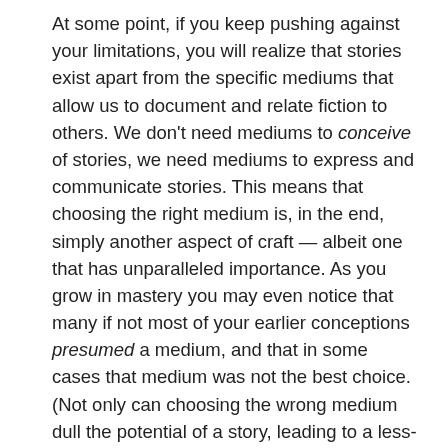At some point, if you keep pushing against your limitations, you will realize that stories exist apart from the specific mediums that allow us to document and relate fiction to others. We don't need mediums to conceive of stories, we need mediums to express and communicate stories. This means that choosing the right medium is, in the end, simply another aspect of craft — albeit one that has unparalleled importance. As you grow in mastery you may even notice that many if not most of your earlier conceptions presumed a medium, and that in some cases that medium was not the best choice. (Not only can choosing the wrong medium dull the potential of a story, leading to a less-than-satisfying result, it can lead to still-born tales that never quite work no matter how many drafts or versions you write.)